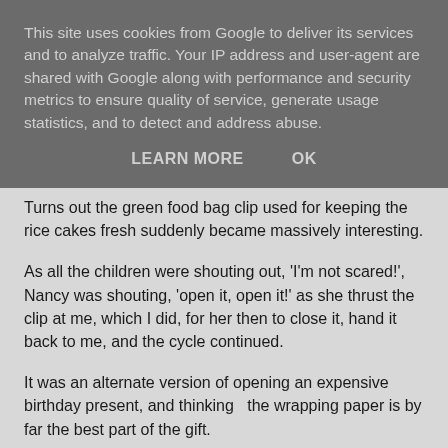This site uses cookies from Google to deliver its services and to analyze traffic. Your IP address and user-agent are shared with Google along with performance and security metrics to ensure quality of service, generate usage statistics, and to detect and address abuse.
LEARN MORE    OK
Turns out the green food bag clip used for keeping the rice cakes fresh suddenly became massively interesting.
As all the children were shouting out, 'I'm not scared!', Nancy was shouting, 'open it, open it!' as she thrust the clip at me, which I did, for her then to close it, hand it back to me, and the cycle continued.
It was an alternate version of opening an expensive birthday present, and thinking  the wrapping paper is by far the best part of the gift.
I'm quickly realising that you can't second guess a toddler.
They are a law unto themselves.